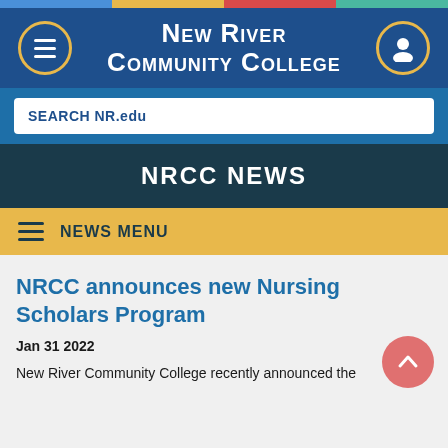New River Community College
SEARCH NR.edu
NRCC NEWS
NEWS MENU
NRCC announces new Nursing Scholars Program
Jan 31 2022
New River Community College recently announced the